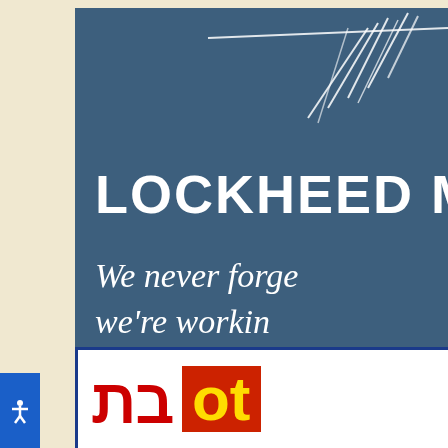[Figure (logo): Lockheed Martin logo banner with dark blue background, white star/aircraft graphic in upper right, bold white text 'LOCKHEED MA' and italic tagline 'We never forge we're workin']
[Figure (logo): Partial view of another logo/advertisement banner at bottom with red Hebrew-style text and yellow text on red background]